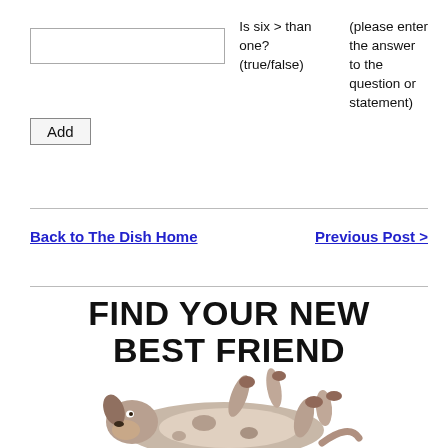Is six > than one? (true/false)
(please enter the answer to the question or statement)
Add
Back to The Dish Home
Previous Post >
FIND YOUR NEW BEST FRIEND
[Figure (photo): A puppy lying on its back with paws in the air on a white background]